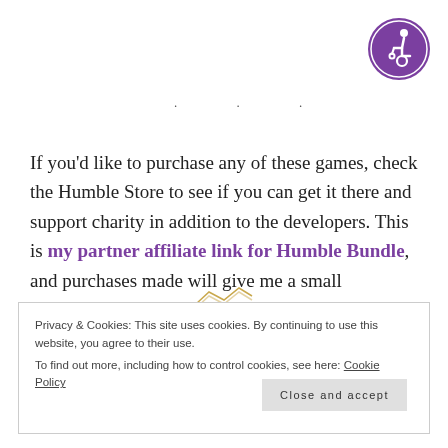[Figure (logo): Accessibility icon — white wheelchair user symbol on a purple circle background]
· · ·
If you'd like to purchase any of these games, check the Humble Store to see if you can get it there and support charity in addition to the developers. This is my partner affiliate link for Humble Bundle, and purchases made will give me a small commission at not additional cost to you.
[Figure (illustration): Small decorative golden chevron / arrow pattern]
Privacy & Cookies: This site uses cookies. By continuing to use this website, you agree to their use.
To find out more, including how to control cookies, see here: Cookie Policy
Close and accept